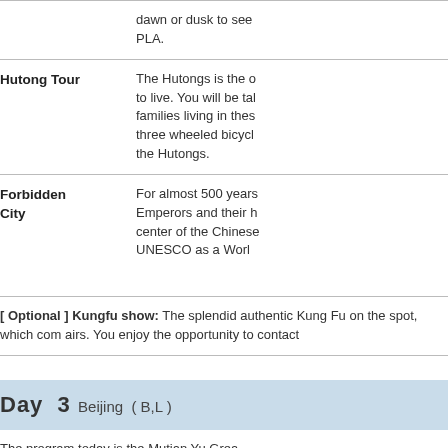| Activity | Description |
| --- | --- |
|  | dawn or dusk to see PLA. |
| Hutong Tour | The Hutongs is the oldest place to live. You will be talking to families living in these three wheeled bicycle the Hutongs. |
| Forbidden City | For almost 500 years Emperors and their h center of the Chinese UNESCO as a World |
[ Optional ] Kungfu show: The splendid authentic Kung Fu on the spot, which com airs. You enjoy the opportunity to contact
Day 3  Beijing  ( B,L )
The program today is the Mutian Yu Grea Badaling, you might walk up and down th